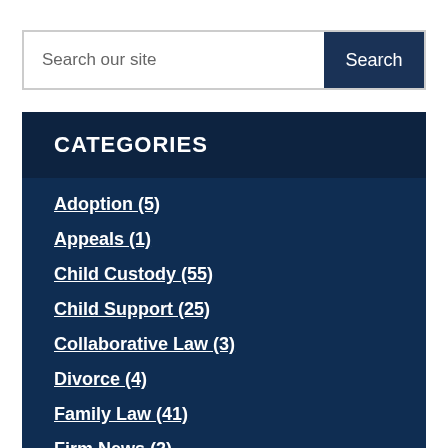Search our site
CATEGORIES
Adoption (5)
Appeals (1)
Child Custody (55)
Child Support (25)
Collaborative Law (3)
Divorce (4)
Family Law (41)
Firm News (2)